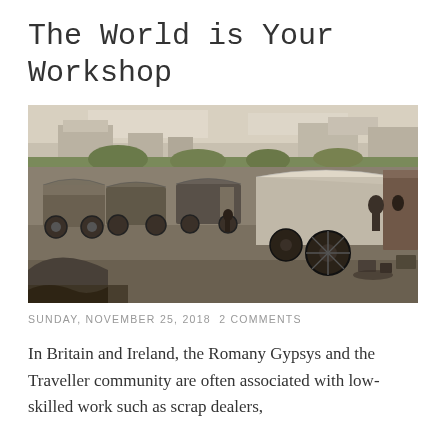The World is Your Workshop
[Figure (photo): Black and white historical photograph of a Romany/Traveller encampment with covered wagons and caravans in a field, buildings visible in the background.]
SUNDAY, NOVEMBER 25, 2018  2 COMMENTS
In Britain and Ireland, the Romany Gypsys and the Traveller community are often associated with low-skilled work such as scrap dealers,